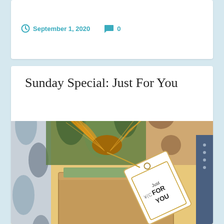September 1, 2020   0
Sunday Special: Just For You
[Figure (photo): A gift box with a gold mesh ribbon bow and a white tag reading 'Just For You', set against a colorful patterned background]